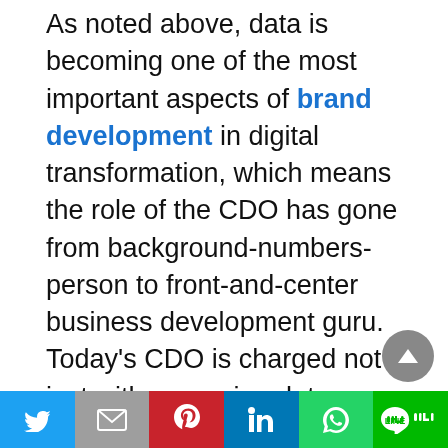As noted above, data is becoming one of the most important aspects of brand development in digital transformation, which means the role of the CDO has gone from background-numbers-person to front-and-center business development guru. Today's CDO is charged not just with managing data, as she did in the past, but with building value with it. This takes a completely different mindset—one not just focused on keeping data clean and organized, but on thinking strategically about the ways data can help build business. The same reason that CMO is falling out of favor—too much creativity, not enough technical acumen—could be the exact opposite reason CDOs eventually fall out
[Figure (other): Social sharing bar with Twitter, Mail, Pinterest, LinkedIn, WhatsApp, and LINE buttons]